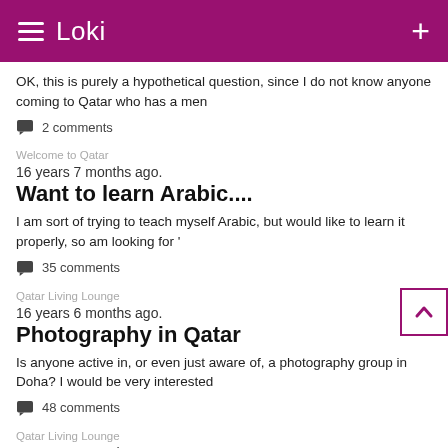Loki
OK, this is purely a hypothetical question, since I do not know anyone coming to Qatar who has a men
2 comments
Welcome to Qatar
16 years 7 months ago.
Want to learn Arabic....
I am sort of trying to teach myself Arabic, but would like to learn it properly, so am looking for '
35 comments
Qatar Living Lounge
16 years 6 months ago.
Photography in Qatar
Is anyone active in, or even just aware of, a photography group in Doha? I would be very interested
48 comments
Qatar Living Lounge
16 years 6 months ago.
Site layout - Forum restructure/